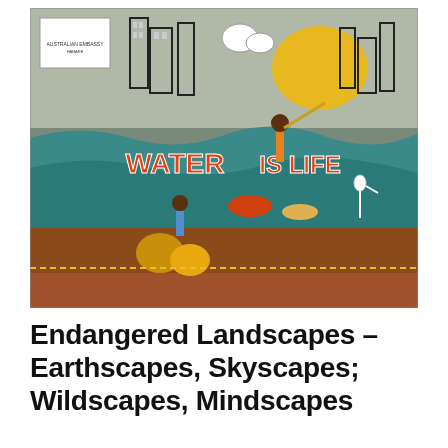[Figure (photo): A painted mural on a wall featuring the text 'WATER IS LIFE' in large orange/red letters. The mural depicts a colorful scene with people, fish, a heron/egret, water waves, a cityscape skyline in black and white, a yellow sun, a butterfly, and decorative African/indigenous motifs. The Australian Embassy Harare logo is visible in the top left corner of the mural. People are shown drawing water and playing drums near large clay pots. Fish swim in a river. The ground in front of the wall is red/brown dirt.]
Endangered Landscapes – Earthscapes, Skyscapes; Wildscapes, Mindscapes